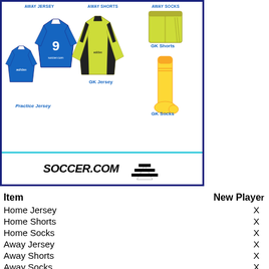[Figure (illustration): Soccer uniform display showing Away Jersey (#9 blue), Away Shorts, Away Socks, Practice Jersey (blue), GK Jersey (yellow-green long sleeve), GK Shorts (yellow-green), GK Socks (yellow), with Soccer.com and Adidas logos at the bottom in a dark blue bordered box.]
| Item | New Playe... |
| --- | --- |
| Home Jersey | X |
| Home Shorts | X |
| Home Socks | X |
| Away Jersey | X |
| Away Shorts | X |
| Away Socks | X |
| Training Jersey | X |